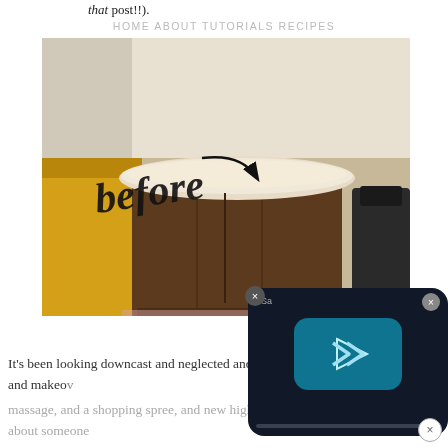that post!!).
HOME   ABOUT   TUTORIALS   RECIPES
[Figure (photo): A round-top wooden cabinet/end table photographed in a workshop or garage setting, with the handwritten script word 'before' and an arrow overlaid on the image. A yellow piece of furniture is visible to the left, and a black bag/bin to the right. A small watermark '7Sa' appears at bottom right.]
It's been looking downcast and neglected and in need of some serious pampering and makeover...
massage, and a shopping spree, and new highlights. Oh WAIT, I'm thinking about someone else. But still!